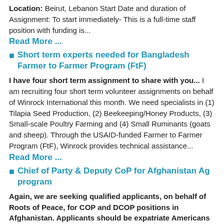Location: Beirut, Lebanon Start Date and duration of Assignment: To start immediately- This is a full-time staff position with funding is...
Read More ...
Short term experts needed for Bangladesh Farmer to Farmer Program (FtF)
I have four short term assignment to share with you... I am recruiting four short term volunteer assignments on behalf of Winrock International this month. We need specialists in (1) Tilapia Seed Production, (2) Beekeeping/Honey Products, (3) Small-scale Poultry Farming and (4) Small Ruminants (goats and sheep). Through the USAID-funded Farmer to Farmer Program (FtF), Winrock provides technical assistance...
Read More ...
Chief of Party & Deputy CoP for Afghanistan Ag program
Again, we are seeking qualified applicants, on behalf of Roots of Peace, for COP and DCOP positions in Afghanistan. Applicants should be expatriate Americans